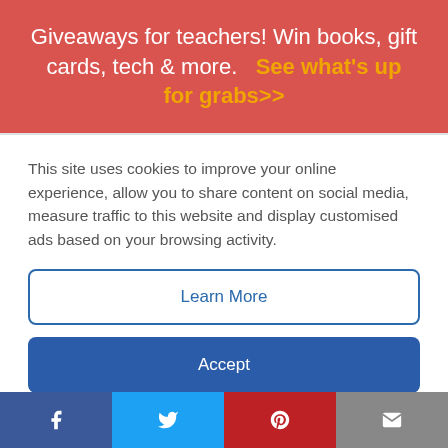Giveaways for teachers! Win books, gift cards, tech & more.  See what's up for grabs>>
This site uses cookies to improve your online experience, allow you to share content on social media, measure traffic to this website and display customised ads based on your browsing activity.
Learn More
Accept
Image source: @MsVanessaDionne
f  t  P  (mail icon)